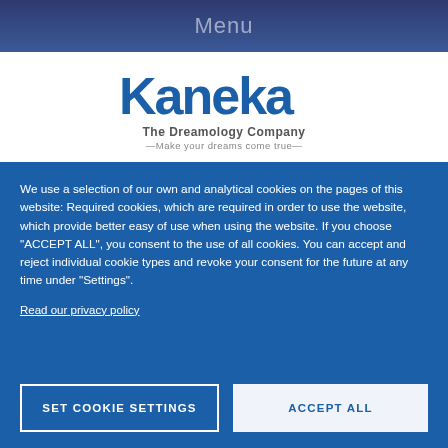Menu
[Figure (logo): Kaneka – The Dreamology Company logo with tagline 'Make your dreams come true']
We use a selection of our own and analytical cookies on the pages of this website: Required cookies, which are required in order to use the website, which provide better easy of use when using the website. If you choose "ACCEPT ALL", you consent to the use of all cookies. You can accept and reject individual cookie types and revoke your consent for the future at any time under "Settings".
Read our privacy policy
SET COOKIE SETTINGS
ACCEPT ALL